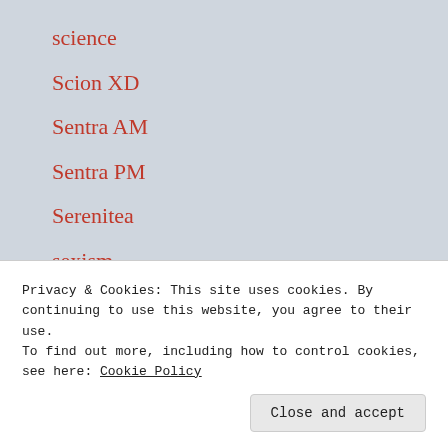science
Scion XD
Sentra AM
Sentra PM
Serenitea
sexism
sextracurricular activities
shoulder rehab
Privacy & Cookies: This site uses cookies. By continuing to use this website, you agree to their use.
To find out more, including how to control cookies, see here: Cookie Policy
Close and accept